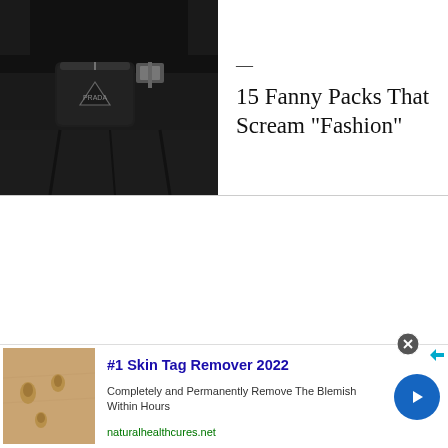[Figure (photo): Close-up of a person wearing black pants with a small black Prada fanny pack/belt bag attached at the waist with a silver clasp buckle]
15 Fanny Packs That Scream "Fashion"
[Figure (photo): Advertisement image showing close-up of skin with skin tags]
#1 Skin Tag Remover 2022
Completely and Permanently Remove The Blemish Within Hours
naturalhealthcures.net